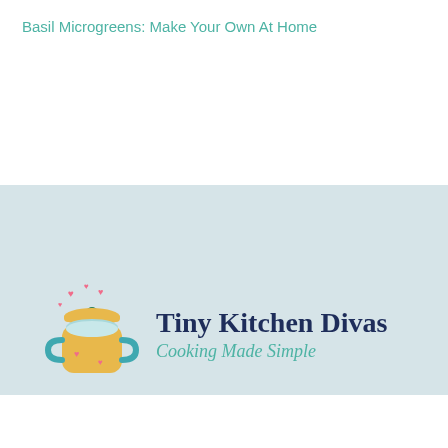Basil Microgreens: Make Your Own At Home
[Figure (logo): Tiny Kitchen Divas logo with illustrated yellow pot with teal handles and lid, pink hearts floating above it, next to bold navy text 'Tiny Kitchen Divas' and teal italic script 'Cooking Made Simple', on a light blue-gray background banner]